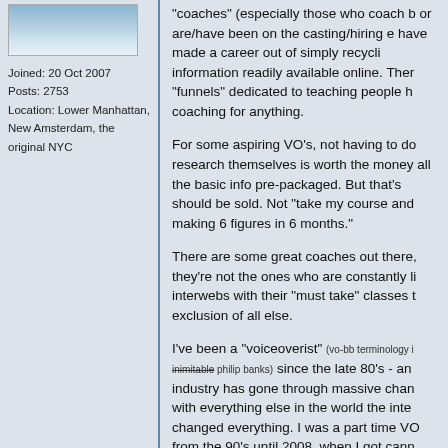[Figure (photo): Partial avatar image showing blue/sky tones, cropped at top]
Joined: 20 Oct 2007
Posts: 2753
Location: Lower Manhattan, New Amsterdam, the original NYC
"coaches" (especially those who coach b or are/have been on the casting/hiring e have made a career out of simply recycli information readily available online. Ther "funnels" dedicated to teaching people h coaching for anything.
For some aspiring VO's, not having to do research themselves is worth the money all the basic info pre-packaged. But that's should be sold. Not "take my course and making 6 figures in 6 months."
There are some great coaches out there, they're not the ones who are constantly li interwebs with their "must take" classes t exclusion of all else.
I've been a "voiceoverist" (vo-bb terminology i inimitable philip banks) since the late 80's - an industry has gone through massive chan with everything else in the world the inte changed everything. I was a part time VO from the 90's until 2008, when I got cann "part-time job with full-time salary and be